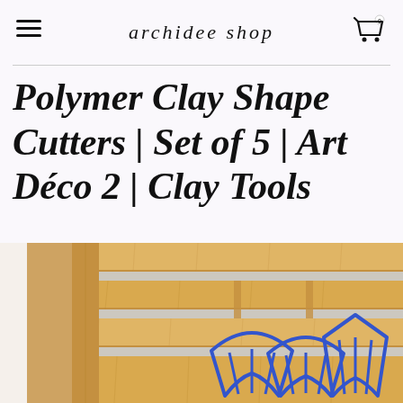archidee shop
Polymer Clay Shape Cutters | Set of 5 | Art Déco 2 | Clay Tools
[Figure (photo): Photo of blue Art Déco polymer clay shape cutters arranged on a wooden bamboo slatted surface, showing geometric angular cutter shapes in blue plastic.]